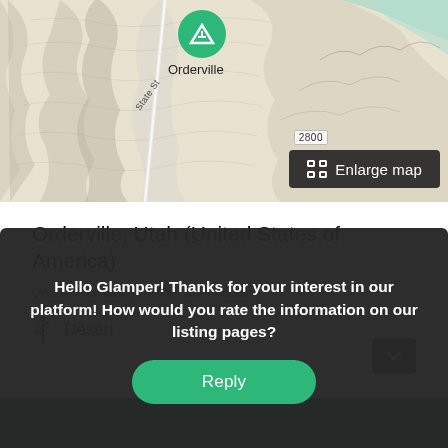[Figure (map): Topographic map showing Orderville, Utah with a green camping marker pin, road labeled State St, elevation marker 2800, and an Enlarge map button overlay]
Orderville, Utah (United States of America)
Detailed location provided after booking
Desert
Hello Glamper! Thanks for your interest in our platform! How would you rate the information on our listing pages?
Reply